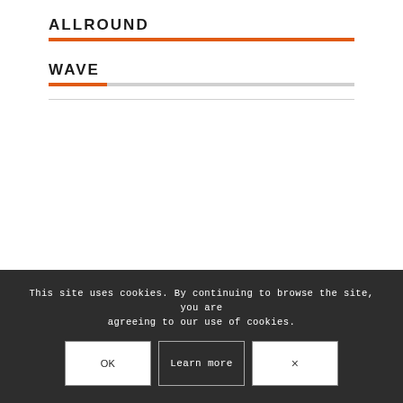ALLROUND
WAVE
This site uses cookies. By continuing to browse the site, you are agreeing to our use of cookies.
OK
Learn more
×